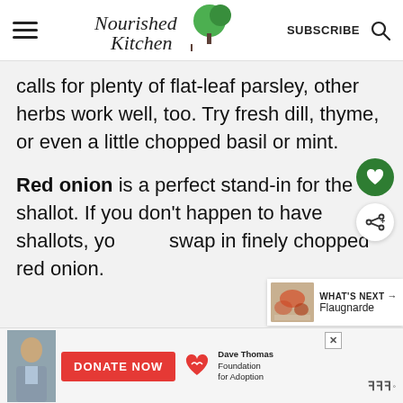Nourished Kitchen | SUBSCRIBE
calls for plenty of flat-leaf parsley, other herbs work well, too. Try fresh dill, thyme, or even a little chopped basil or mint.
Red onion is a perfect stand-in for the shallot. If you don't happen to have shallots, you can swap in finely chopped red onion.
[Figure (screenshot): What's Next promo box showing Flaugnarde recipe with thumbnail image]
[Figure (screenshot): Advertisement banner: Donate Now button for Dave Thomas Foundation for Adoption, with photo of young male and charity logo. Wendy's brand mark at right.]